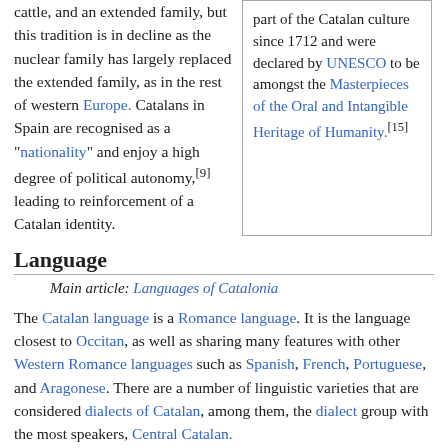cattle, and an extended family, but this tradition is in decline as the nuclear family has largely replaced the extended family, as in the rest of western Europe. Catalans in Spain are recognised as a "nationality" and enjoy a high degree of political autonomy,[9] leading to reinforcement of a Catalan identity.
part of the Catalan culture since 1712 and were declared by UNESCO to be amongst the Masterpieces of the Oral and Intangible Heritage of Humanity.[15]
Language
Main article: Languages of Catalonia
The Catalan language is a Romance language. It is the language closest to Occitan, as well as sharing many features with other Western Romance languages such as Spanish, French, Portuguese, and Aragonese. There are a number of linguistic varieties that are considered dialects of Catalan, among them, the dialect group with the most speakers, Central Catalan.
The total number of Catalan speakers is over 9.8 million (2011), 5.9 million in Catalonia. More than half of them speak Catalan as a second language, with native speakers being about 4.4 million of